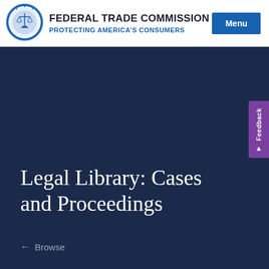[Figure (logo): Federal Trade Commission circular seal/logo in blue]
FEDERAL TRADE COMMISSION
PROTECTING AMERICA'S CONSUMERS
Menu
Legal Library: Cases and Proceedings
← Browse